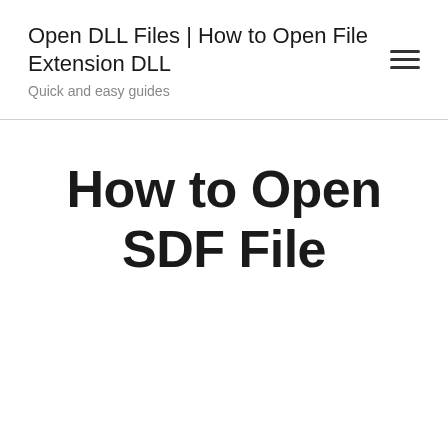Open DLL Files | How to Open File Extension DLL
Quick and easy guides
How to Open SDF File